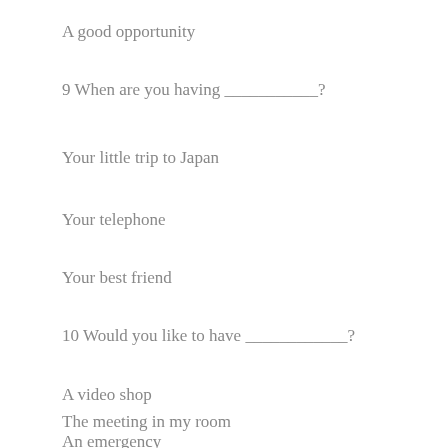A good opportunity
9 When are you having ___________?
Your little trip to Japan
Your telephone
Your best friend
10 Would you like to have ____________?
A video shop
The meeting in my room
An emergency